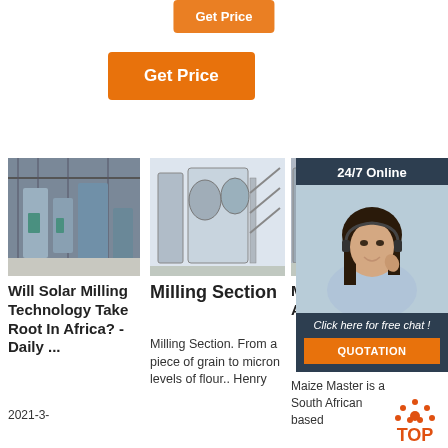[Figure (screenshot): Orange 'Get Price' button (partially visible at top center)]
[Figure (screenshot): Orange 'Get Price' button below the first one]
[Figure (photo): Industrial grain milling machinery inside a warehouse]
Will Solar Milling Technology Take Root In Africa? - Daily ...
2021-3-
[Figure (photo): Stainless steel milling/processing equipment]
Milling Section
Milling Section. From a piece of grain to micron levels of flour.. Henry
[Figure (photo): Partially visible industrial equipment]
M— For Achievement
Maize Master is a South African based
[Figure (screenshot): 24/7 Online chat widget with woman wearing headset and 'Click here for free chat!' CTA and QUOTATION button]
[Figure (infographic): Orange TOP button with dot pattern above it]